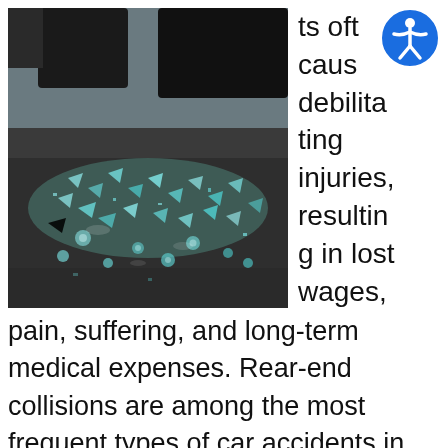[Figure (photo): Close-up ground-level photograph of shattered glass on asphalt after a car accident, with blurred vehicles visible in the background.]
ts often causing debilitating injuries, resulting in lost wages,
pain, suffering, and long-term medical expenses. Rear-end collisions are among the most frequent types of car accidents in the U.S. The injuries resulting from these accidents cost injured victims millions of dollars in medical bills, therapy, and ongoing treatment. If you or a loved one has